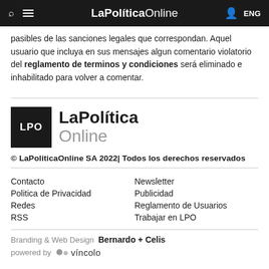LaPolíticaOnline — ENG
pasibles de las sanciones legales que correspondan. Aquel usuario que incluya en sus mensajes algun comentario violatorio del reglamento de terminos y condiciones será eliminado e inhabilitado para volver a comentar.
[Figure (logo): LPO LaPolítica Online logo — black square with LPO text and brand name]
© LaPoliticaOnline SA 2022| Todos los derechos reservados
Contacto
Politica de Privacidad
Redes
RSS
Newsletter
Publicidad
Reglamento de Usuarios
Trabajar en LPO
Branding & Web Design Bernardo + Celis
powered by víncolo